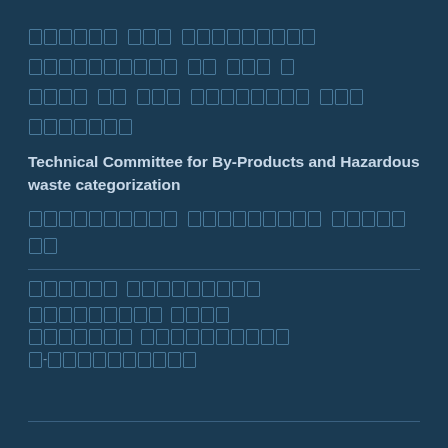[Arabic text - line 1]
[Arabic text - line 2]
[Arabic text - line 3]
[Arabic text - line 4]
Technical Committee for By-Products and Hazardous waste categorization
[Arabic text - subtitle line]
[Arabic section header]
[Arabic sub-item 1]
[Arabic sub-item 2]
[Arabic sub-item 3]